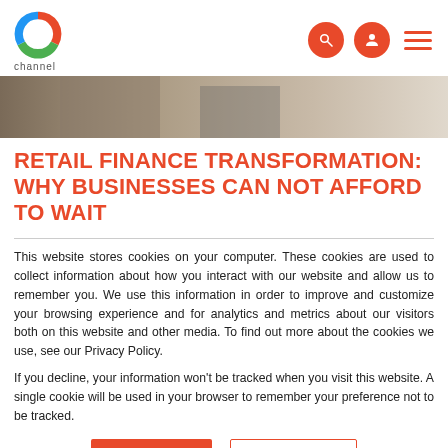channel logo and navigation icons
[Figure (photo): A partial photo of a person at a desk, showing a workspace environment with desk surface and background.]
RETAIL FINANCE TRANSFORMATION: WHY BUSINESSES CAN NOT AFFORD TO WAIT
This website stores cookies on your computer. These cookies are used to collect information about how you interact with our website and allow us to remember you. We use this information in order to improve and customize your browsing experience and for analytics and metrics about our visitors both on this website and other media. To find out more about the cookies we use, see our Privacy Policy.
If you decline, your information won't be tracked when you visit this website. A single cookie will be used in your browser to remember your preference not to be tracked.